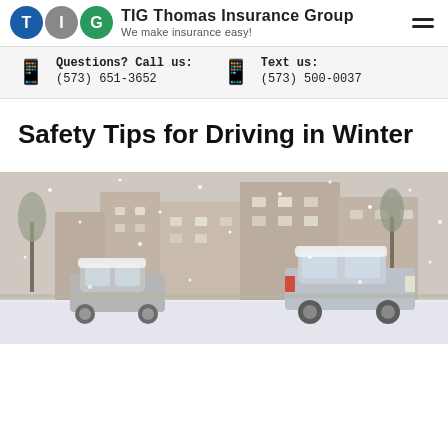TIG Thomas Insurance Group — We make insurance easy!
Questions? Call us: (573) 651-3652   Text us: (573) 500-0037
Safety Tips for Driving in Winter
[Figure (photo): Snow-covered street with cars during a snowstorm, residential buildings in background]